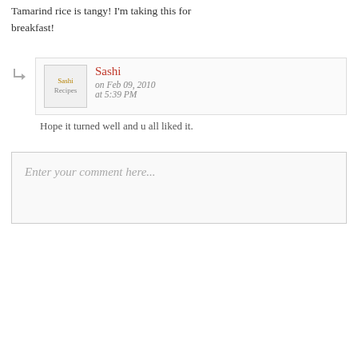Tamarind rice is tangy! I'm taking this for breakfast!
Sashi
on Feb 09, 2010
at 5:39 PM
Hope it turned well and u all liked it.
Enter your comment here...